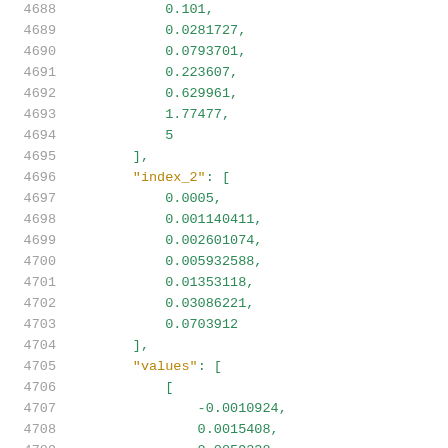Code listing lines 4688-4709 showing JSON array data with index_2 and values keys
4688: 0.101,
4689: 0.0281727,
4690: 0.0793701,
4691: 0.223607,
4692: 0.629961,
4693: 1.77477,
4694: 5
4695: ],
4696: "index_2": [
4697: 0.0005,
4698: 0.001140411,
4699: 0.002601074,
4700: 0.005932588,
4701: 0.01353118,
4702: 0.03086221,
4703: 0.0703912
4704: ],
4705: "values": [
4706: [
4707: -0.0010924,
4708: 0.0015408,
4709: 0.0059238,